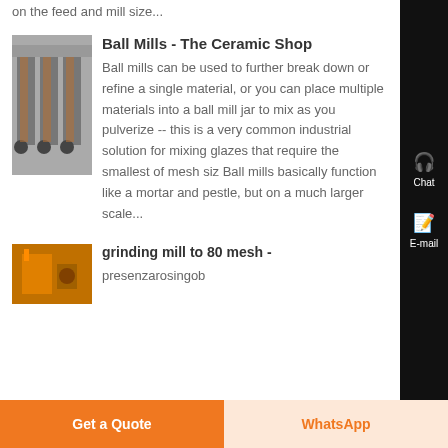on the feed and mill size...
[Figure (photo): Photo of ball mill machinery, multiple units in a row with motors]
Ball Mills - The Ceramic Shop
Ball mills can be used to further break down or refine a single material, or you can place multiple materials into a ball mill jar to mix as you pulverize -- this is a very common industrial solution for mixing glazes that require the smallest of mesh siz Ball mills basically function like a mortar and pestle, but on a much larger scale...
[Figure (photo): Photo of grinding mill equipment, orange colored machinery]
grinding mill to 80 mesh - presenzarosingob
Get a Quote
WhatsApp